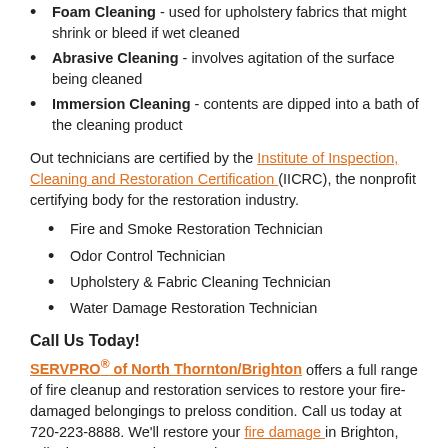Foam Cleaning - used for upholstery fabrics that might shrink or bleed if wet cleaned
Abrasive Cleaning - involves agitation of the surface being cleaned
Immersion Cleaning - contents are dipped into a bath of the cleaning product
Out technicians are certified by the Institute of Inspection, Cleaning and Restoration Certification (IICRC), the nonprofit certifying body for the restoration industry.
Fire and Smoke Restoration Technician
Odor Control Technician
Upholstery & Fabric Cleaning Technician
Water Damage Restoration Technician
Call Us Today!
SERVPRO® of North Thornton/Brighton offers a full range of fire cleanup and restoration services to restore your fire-damaged belongings to preloss condition. Call us today at 720-223-8888. We'll restore your fire damage in Brighton, "Like it never even happened."
SERVPRO® of North Thornton/Brighton is Independently